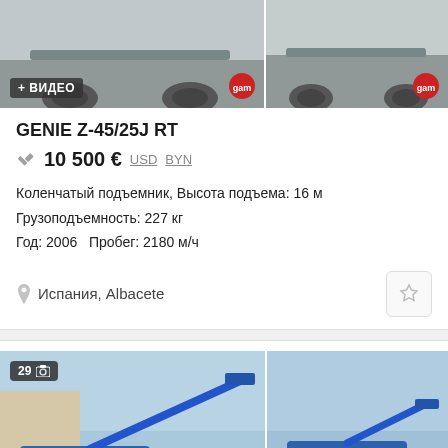[Figure (photo): Two aerial lift machines photographed on pavement, top portion of images visible. Left image has a '+ВИДЕО' badge and GAM logo. Right image also has GAM logo.]
GENIE Z-45/25J RT
10 500 € USD BYN
Коленчатый подъемник, Высота подъема: 16 м
Грузоподъемность: 227 кг
Год: 2006  Пробег: 2180 м/ч
Испания, Albacete
[Figure (photo): Two photos of a blue articulated boom lift (Genie) at what appears to be a Euro Auctions yard. Left image shows the full extended lift from the side with euroauctions.com branding. Right image shows a front-side view of the same machine. A badge shows '29' photos with a camera icon.]